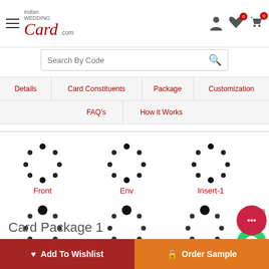Indian Wedding Card .com — header with hamburger menu, logo, search, icons
[Figure (screenshot): Website navigation bar with tabs: Details, Card Constituents, Package, Customization, FAQ's, How it Works]
[Figure (screenshot): Loading spinner icons in a 3x2 grid labeled: Front, Env, Insert-1 (top row), Insert-2, Insert-3, Inside-View (bottom row)]
Card Package 1
Add To Wishlist
Order Sample